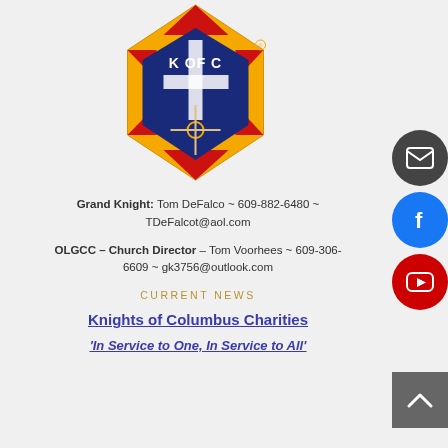[Figure (logo): Knights of Columbus logo — gold star shape with K OF C text and shield with cross, sword, anchor, and fasces]
Grand Knight: Tom DeFalco ~ 609-882-6480 ~ TDeFalcot@aol.com
OLGCC – Church Director – Tom Voorhees ~ 609-306-6609 ~ gk3756@outlook.com
CURRENT NEWS
Knights of Columbus Charities
'In Service to One, In Service to All'